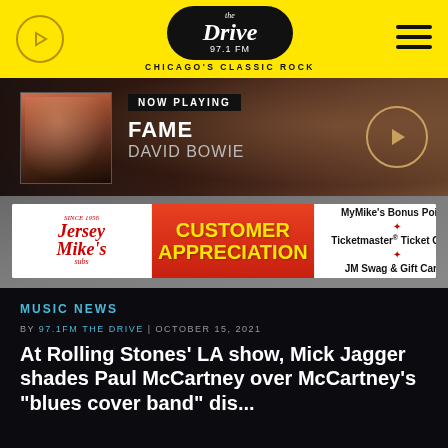The Drive 97.1 FM — CHICAGO'S CLASSIC ROCK
[Figure (screenshot): Now Playing banner showing David Bowie album art with text NOW PLAYING, FAME, DAVID BOWIE and a play button]
[Figure (screenshot): Jersey Mike's Customer Appreciation advertisement banner with MyMike's Bonus Points, Ticketmaster Ticket Cash, JM Swag & Gift Cards]
MUSIC NEWS
BY 97.1FM THE DRIVE | OCTOBER 15, 2021
At Rolling Stones' LA show, Mick Jagger shades Paul McCartney over McCartney's "blues cover band" dis...